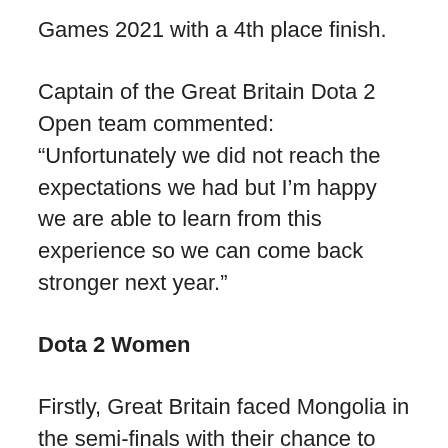Games 2021 with a 4th place finish.
Captain of the Great Britain Dota 2 Open team commented:
“Unfortunately we did not reach the expectations we had but I’m happy we are able to learn from this experience so we can come back stronger next year.”
Dota 2 Women
Firstly, Great Britain faced Mongolia in the semi-finals with their chance to secure a spot in the grand finals. The team secured the victory 2-0 where their next game would see them face against the hosting country’s team: Singapore.
Heading onto the main stage, Great Britain started off the